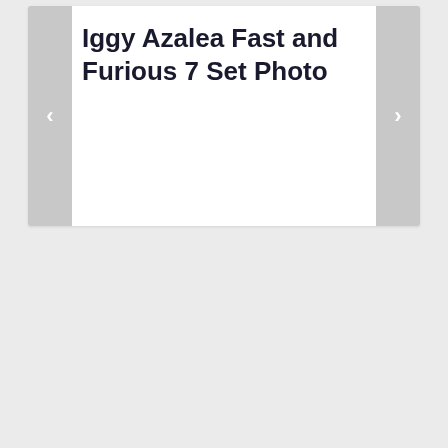Iggy Azalea Fast and Furious 7 Set Photo